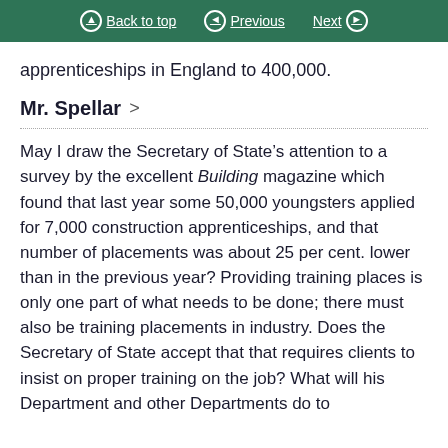Back to top   Previous   Next
apprenticeships in England to 400,000.
Mr. Spellar >
May I draw the Secretary of State’s attention to a survey by the excellent Building magazine which found that last year some 50,000 youngsters applied for 7,000 construction apprenticeships, and that number of placements was about 25 per cent. lower than in the previous year? Providing training places is only one part of what needs to be done; there must also be training placements in industry. Does the Secretary of State accept that that requires clients to insist on proper training on the job? What will his Department and other Departments do to